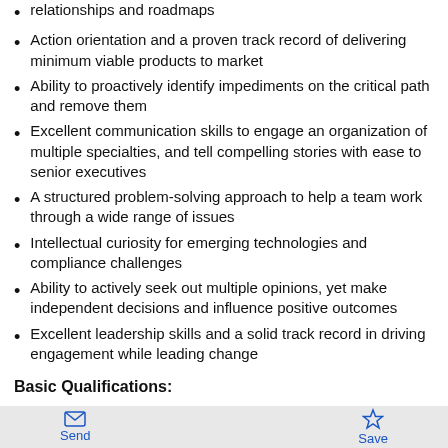relationships and roadmaps
Action orientation and a proven track record of delivering minimum viable products to market
Ability to proactively identify impediments on the critical path and remove them
Excellent communication skills to engage an organization of multiple specialties, and tell compelling stories with ease to senior executives
A structured problem-solving approach to help a team work through a wide range of issues
Intellectual curiosity for emerging technologies and compliance challenges
Ability to actively seek out multiple opinions, yet make independent decisions and influence positive outcomes
Excellent leadership skills and a solid track record in driving engagement while leading change
Basic Qualifications:
Send  Save